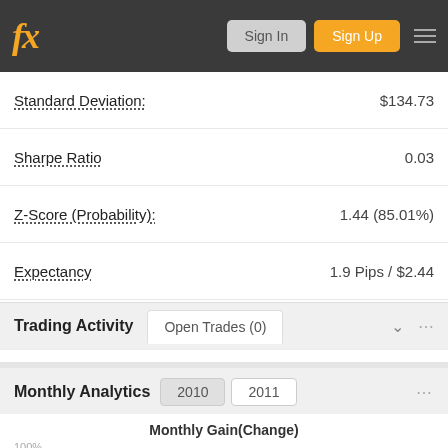fx Sign In Sign Up
| Metric | Value |
| --- | --- |
| Standard Deviation: | $134.73 |
| Sharpe Ratio | 0.03 |
| Z-Score (Probability): | 1.44 (85.01%) |
| Expectancy | 1.9 Pips / $2.44 |
| AHPR: | 1.07% |
| GHPR: | 0.14% |
Trading Activity
Open Trades (0)
No data to display
Monthly Analytics
2010
2011
Monthly Gain(Change)
100%